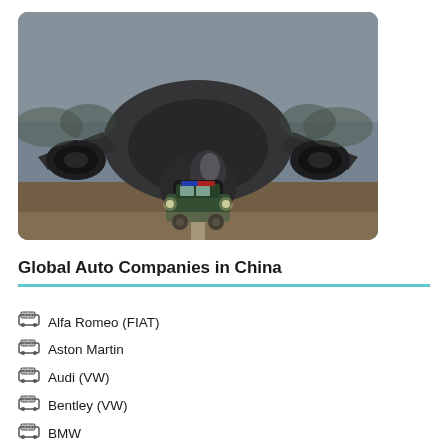[Figure (photo): Front view of a large military or cargo transport aircraft (dark grey) on a runway, with a police or military SUV vehicle parked directly in front of it. Dusty/hazy atmosphere.]
Global Auto Companies in China
Alfa Romeo (FIAT)
Aston Martin
Audi (VW)
Bentley (VW)
BMW
Bugatti (VW)
Carlsson (Tuner)